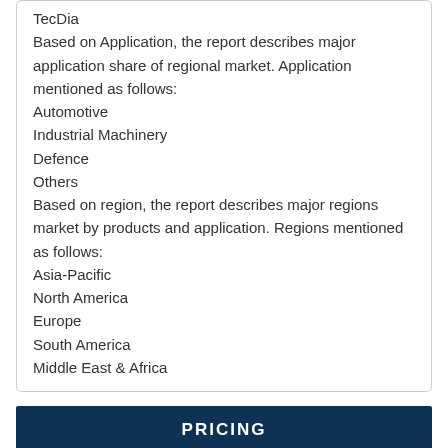TecDia
Based on Application, the report describes major application share of regional market. Application mentioned as follows:
Automotive
Industrial Machinery
Defence
Others
Based on region, the report describes major regions market by products and application. Regions mentioned as follows:
Asia-Pacific
North America
Europe
South America
Middle East & Africa
PRICING
Single User License    $1800
Site License    $2160